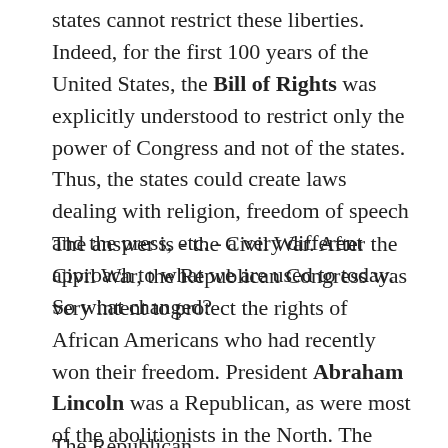states cannot restrict these liberties. Indeed, for the first 100 years of the United States, the Bill of Rights was explicitly understood to restrict only the power of Congress and not of the states. Thus, the states could create laws dealing with religion, freedom of speech and the press, etc. - a very different approach to what we are used to today. So what changed?
The answer is - the Civil War. After the Civil War, the Republican Congress was very intent to protect the rights of African Americans who had recently won their freedom. President Abraham Lincoln was a Republican, as were most of the abolitionists in the North. The party of the slave holding South was the Democrat Party. Consequently, nearly all former slaves became Republicans after the war.
The Republican